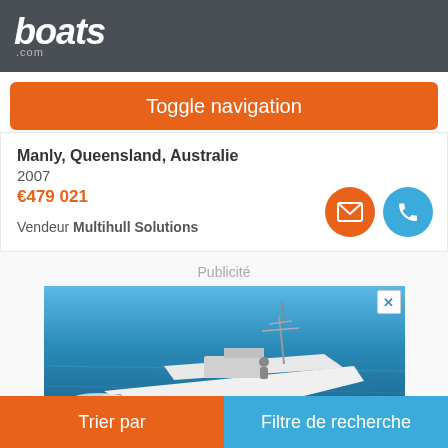boats.com
Toggle navigation
Manly, Queensland, Australie
2007
€479 021
Vendeur Multihull Solutions
[Figure (screenshot): Advertisement showing a white speedboat on blue ocean water]
Publicité
Trier par | Filtre de recherche